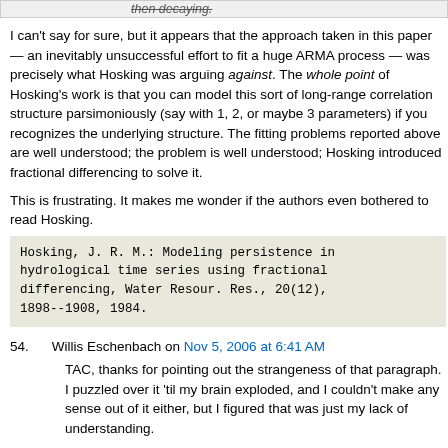then decaying.
I can't say for sure, but it appears that the approach taken in this paper — an inevitably unsuccessful effort to fit a huge ARMA process — was precisely what Hosking was arguing against. The whole point of Hosking's work is that you can model this sort of long-range correlation structure parsimoniously (say with 1, 2, or maybe 3 parameters) if you recognizes the underlying structure. The fitting problems reported above are well understood; the problem is well understood; Hosking introduced fractional differencing to solve it.
This is frustrating. It makes me wonder if the authors even bothered to read Hosking.
Hosking, J. R. M.: Modeling persistence in hydrological time series using fractional differencing, Water Resour. Res., 20(12), 1898--1908, 1984.
54.   Willis Eschenbach on Nov 5, 2006 at 6:41 AM
TAC, thanks for pointing out the strangeness of that paragraph. I puzzled over it 'til my brain exploded, and I couldn't make any sense out of it either, but I figured that was just my lack of understanding.
w.